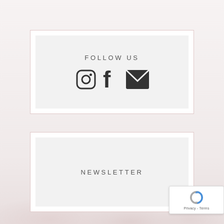[Figure (infographic): FOLLOW US section with Instagram, Facebook, and email icons inside a light grey box with white border frame]
[Figure (infographic): NEWSLETTER section text inside a light grey box with white border frame]
[Figure (logo): reCAPTCHA badge in bottom right showing spinning arrows logo and Privacy - Terms text]